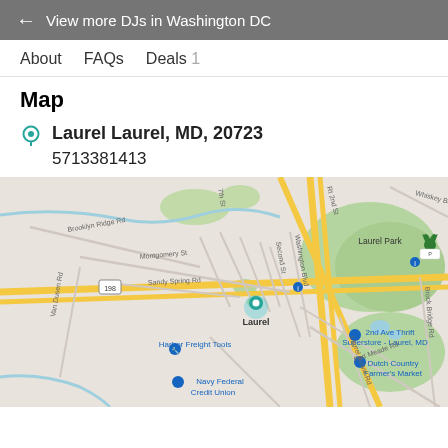← View more DJs in Washington DC
About   FAQs   Deals 1
Map
Laurel Laurel, MD, 20723
5713381413
[Figure (map): Google Maps view of Laurel, MD area showing streets, landmarks including Laurel Park, Harbor Freight Tools, Navy Federal Credit Union, 2nd Ave Thrift Superstore, Dutch Country Farmer's Market, and a location pin on Laurel.]